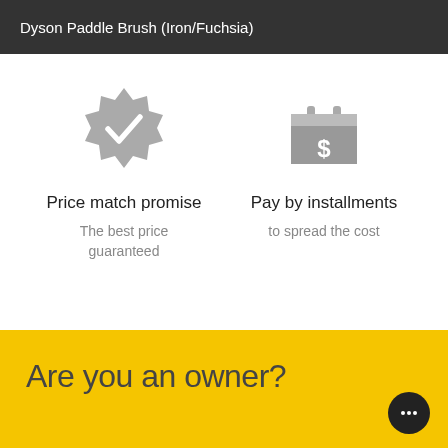Dyson Paddle Brush (Iron/Fuchsia)
[Figure (illustration): Gray badge/seal icon with a white checkmark inside, representing price match promise]
Price match promise
The best price guaranteed
[Figure (illustration): Gray calendar icon with a dollar sign, representing pay by installments]
Pay by installments
to spread the cost
Are you an owner?